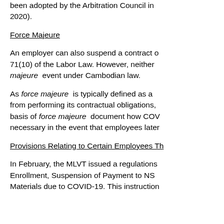been adopted by the Arbitration Council in 2020).
Force Majeure
An employer can also suspend a contract of 71(10) of the Labor Law. However, neither majeure event under Cambodian law.
As force majeure is typically defined as a from performing its contractual obligations, basis of force majeure document how COV necessary in the event that employees later
Provisions Relating to Certain Employees Th
In February, the MLVT issued a regulations Enrollment, Suspension of Payment to NS Materials due to COVID-19. This instruction